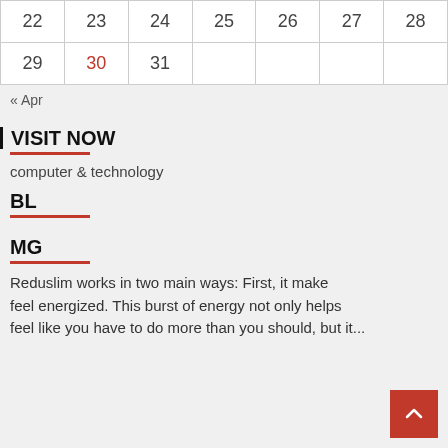| 22 | 23 | 24 | 25 | 26 | 27 | 28 |
| 29 | 30 | 31 |  |  |  |  |
« Apr
| VISIT NOW
computer & technology
BL
MG
Reduslim works in two main ways: First, it makes you feel energized. This burst of energy not only helps you feel like you have to do more than you should, but it...